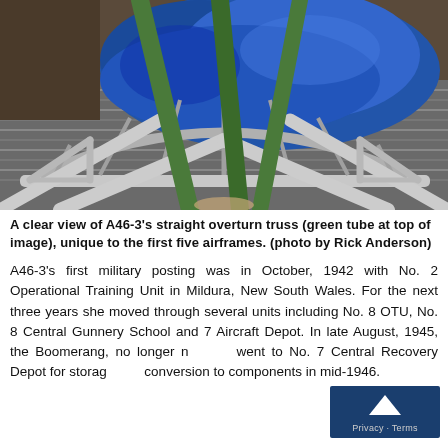[Figure (photo): Close-up photograph of A46-3's straight overturn truss showing silver/aluminium tubular frame structure with green tubes at the top, blue tarpaulin in background, and corrugated metal sheeting visible.]
A clear view of A46-3's straight overturn truss (green tube at top of image), unique to the first five airframes. (photo by Rick Anderson)
A46-3's first military posting was in October, 1942 with No. 2 Operational Training Unit in Mildura, New South Wales. For the next three years she moved through several units including No. 8 OTU, No. 8 Central Gunnery School and 7 Aircraft Depot. In late August, 1945, the Boomerang, no longer needed, went to No. 7 Central Recovery Depot for storage and conversion to components in mid-1946.